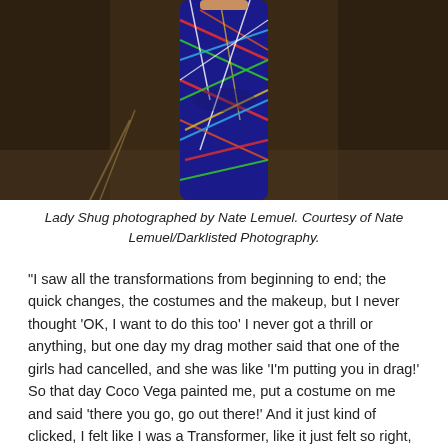[Figure (photo): A person wearing a colorful patterned bodysuit (geometric multicolor design with red, blue, green, white lines on dark background), photographed from mid-torso down, against a dark brown/earthen background.]
Lady Shug photographed by Nate Lemuel. Courtesy of Nate Lemuel/Darklisted Photography.
“I saw all the transformations from beginning to end; the quick changes, the costumes and the makeup, but I never thought ‘OK, I want to do this too’ I never got a thrill or anything, but one day my drag mother said that one of the girls had cancelled, and she was like ‘I’m putting you in drag!’ So that day Coco Vega painted me, put a costume on me and said ‘there you go, go out there!’ And it just kind of clicked, I felt like I was a Transformer, like it just felt so right, and it just kind